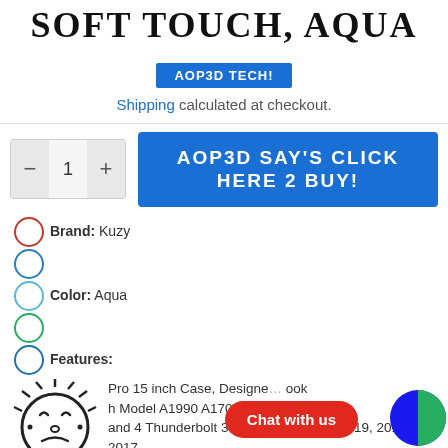SOFT TOUCH, AQUA
AOP3D TECH!
Shipping calculated at checkout.
AOP3D SAY'S CLICK HERE 2 BUY!
Brand: Kuzy
Color: Aqua
Features:
Pro 15 inch Case, Designed with Model A1990 A1707 with CD and 4 Thunderbolt 3 Ports. Release in 2019, 2018, 2017, 2016 Your Apple MacBook Pro will Look Great in Kuzy